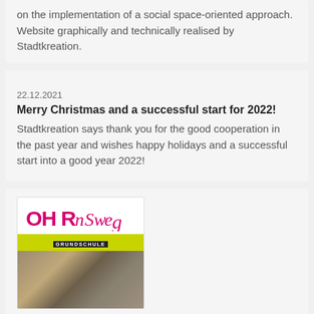on the implementation of a social space-oriented approach. Website graphically and technically realised by Stadtkreation.
22.12.2021
Merry Christmas and a successful start for 2022!
Stadtkreation says thank you for the good cooperation in the past year and wishes happy holidays and a successful start into a good year 2022!
[Figure (logo): OHRnsweg Grundschule logo with pink/magenta stylized text and yellow-green bar with 'GRUNDSCHULE' in black box, plus a blurred photo below]